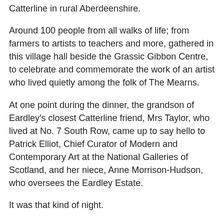Catterline in rural Aberdeenshire.
Around 100 people from all walks of life; from farmers to artists to teachers and more, gathered in this village hall beside the Grassic Gibbon Centre, to celebrate and commemorate the work of an artist who lived quietly among the folk of The Mearns.
At one point during the dinner, the grandson of Eardley's closest Catterline friend, Mrs Taylor, who lived at No. 7 South Row, came up to say hello to Patrick Elliot, Chief Curator of Modern and Contemporary Art at the National Galleries of Scotland, and her niece, Anne Morrison-Hudson, who oversees the Eardley Estate.
It was that kind of night.